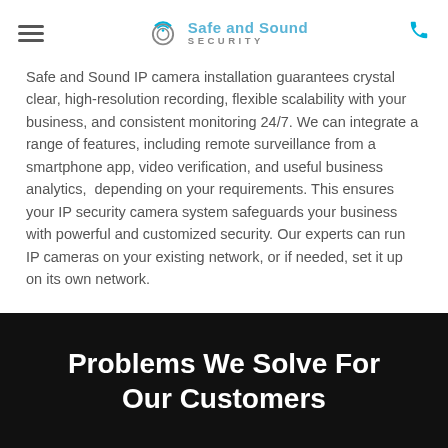Safe and Sound SECURITY
Safe and Sound IP camera installation guarantees crystal clear, high-resolution recording, flexible scalability with your business, and consistent monitoring 24/7. We can integrate a range of features, including remote surveillance from a smartphone app, video verification, and useful business analytics,  depending on your requirements. This ensures your IP security camera system safeguards your business with powerful and customized security. Our experts can run IP cameras on your existing network, or if needed, set it up on its own network.
Problems We Solve For Our Customers